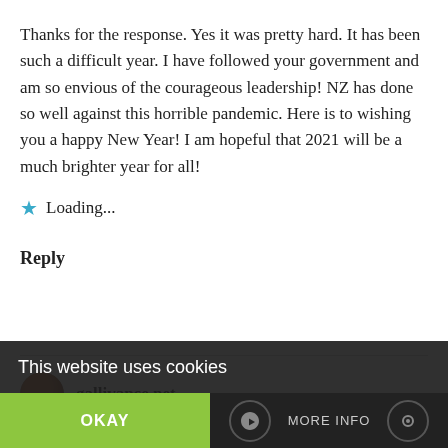Thanks for the response. Yes it was pretty hard. It has been such a difficult year. I have followed your government and am so envious of the courageous leadership! NZ has done so well against this horrible pandemic. Here is to wishing you a happy New Year! I am hopeful that 2021 will be a much brighter year for all!
Loading...
Reply
gallivance.net
This website uses cookies
OKAY
MORE INFO